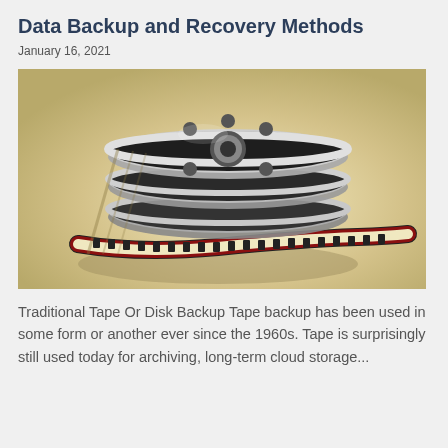Data Backup and Recovery Methods
January 16, 2021
[Figure (photo): Stacked film/tape reels with film strip unrolling on a light surface, representing traditional tape backup storage media.]
Traditional Tape Or Disk Backup Tape backup has been used in some form or another ever since the 1960s. Tape is surprisingly still used today for archiving, long-term cloud storage...